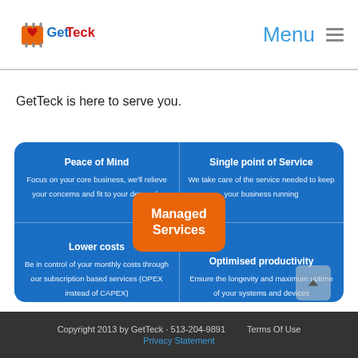GetTeck | Menu
GetTeck is here to serve you.
[Figure (infographic): Blue rounded rectangle divided into 4 quadrants by grid lines with an orange 'Managed Services' badge in the center. Top-left: 'Peace of Mind' - Focus on your core business, we'll relieve your concerns and fit to your demands. Top-right: 'Single point of Service' - We take care of the service needed to keep your business running. Bottom-left: 'Lower costs' - Be in control of your monthly costs through our subscription based services (OPEX instead of CAPEX). Bottom-right: 'Optimised productivity' - Ensure the longevity and maximum uptime of your systems and devices.]
Copyright 2013 by GetTeck · 513-204-9891    Terms Of Use    Privacy Statement